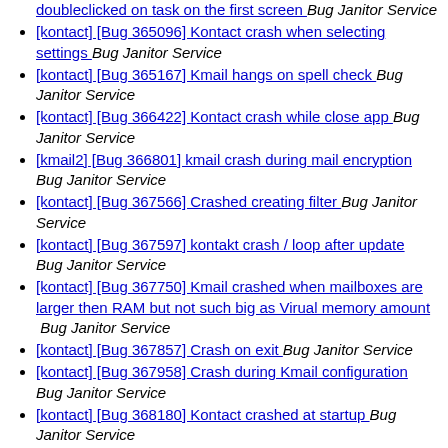doubleclicked on task on the first screen  Bug Janitor Service
[kontact] [Bug 365096] Kontact crash when selecting settings  Bug Janitor Service
[kontact] [Bug 365167] Kmail hangs on spell check  Bug Janitor Service
[kontact] [Bug 366422] Kontact crash while close app  Bug Janitor Service
[kmail2] [Bug 366801] kmail crash during mail encryption  Bug Janitor Service
[kontact] [Bug 367566] Crashed creating filter  Bug Janitor Service
[kontact] [Bug 367597] kontakt crash / loop after update  Bug Janitor Service
[kontact] [Bug 367750] Kmail crashed when mailboxes are larger then RAM but not such big as Virual memory amount  Bug Janitor Service
[kontact] [Bug 367857] Crash on exit  Bug Janitor Service
[kontact] [Bug 367958] Crash during Kmail configuration  Bug Janitor Service
[kontact] [Bug 368180] Kontact crashed at startup  Bug Janitor Service
[kontact] [Bug 368252] Crash during KMail usage  Bug Janitor Service
[akregator] [Bug 368316] Kontact crashes often after minutes of running  Bug Janitor Service